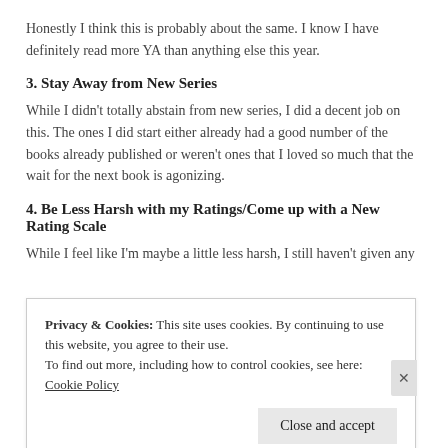Honestly I think this is probably about the same. I know I have definitely read more YA than anything else this year.
3. Stay Away from New Series
While I didn't totally abstain from new series, I did a decent job on this. The ones I did start either already had a good number of the books already published or weren't ones that I loved so much that the wait for the next book is agonizing.
4. Be Less Harsh with my Ratings/Come up with a New Rating Scale
While I feel like I'm maybe a little less harsh, I still haven't given any
Privacy & Cookies: This site uses cookies. By continuing to use this website, you agree to their use.
To find out more, including how to control cookies, see here: Cookie Policy
Close and accept